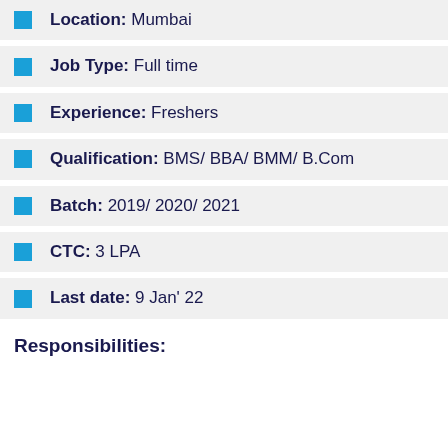Location: Mumbai
Job Type: Full time
Experience: Freshers
Qualification: BMS/ BBA/ BMM/ B.Com
Batch: 2019/ 2020/ 2021
CTC: 3 LPA
Last date: 9 Jan' 22
Responsibilities: